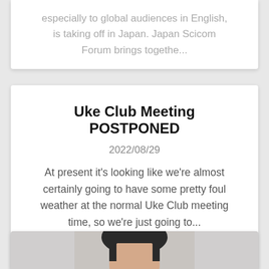especially to global audiences in English, is taking off in Japan. Japan Scicom Forum brings togethe...
Uke Club Meeting POSTPONED
2022/08/29
At present it's looking like we're almost certainly going to have some pretty foul weather at the normal Uke Club meeting time, so we're just going to...
[Figure (photo): Partial photo of a person's face, cropped at the bottom of the page]